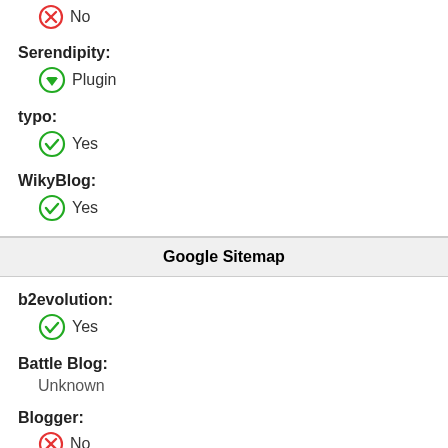No
Serendipity: Plugin
typo: Yes
WikyBlog: Yes
Google Sitemap
b2evolution: Yes
Battle Blog: Unknown
Blogger: No
DotClear: